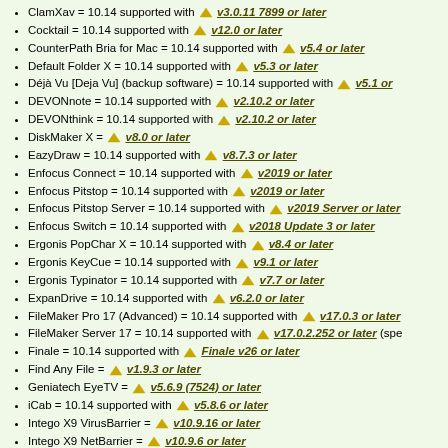ClamXav = 10.14 supported with v3.0.11 7899 or later
Cocktail = 10.14 supported with v12.0 or later
CounterPath Bria for Mac = 10.14 supported with v5.4 or later
Default Folder X = 10.14 supported with v5.3 or later
Déjà Vu [Deja Vu] (backup software) = 10.14 supported with v5.1 or
DEVONnote = 10.14 supported with v2.10.2 or later
DEVONthink = 10.14 supported with v2.10.2 or later
DiskMaker X = v8.0 or later
EazyDraw = 10.14 supported with v8.7.3 or later
Enfocus Connect = 10.14 supported with v2019 or later
Enfocus Pitstop = 10.14 supported with v2019 or later
Enfocus Pitstop Server = 10.14 supported with v2019 Server or later
Enfocus Switch = 10.14 supported with v2018 Update 3 or later
Ergonis PopChar X = 10.14 supported with v8.4 or later
Ergonis KeyCue = 10.14 supported with v9.1 or later
Ergonis Typinator = 10.14 supported with v7.7 or later
ExpanDrive = 10.14 supported with v6.2.0 or later
FileMaker Pro 17 (Advanced) = 10.14 supported with v17.0.3 or later
FileMaker Server 17 = 10.14 supported with v17.0.2.252 or later (spe
Finale = 10.14 supported with Finale v26 or later
Find Any File = v1.9.3 or later
Geniatech EyeTV = v5.6.9 (7524) or later
iCab = 10.14 supported with v5.8.6 or later
Intego X9 VirusBarrier = v10.9.16 or later
Intego X9 NetBarrier = v10.9.6 or later
Intego X9 ContentBarrier = v10.9.5 or later
Intego X9 Personal Backup = v10.9.6 or later
Intego X9 Washing Machine = v10.9.6 or later
Intego X9 NetUpdate = v10.9.5 or later
Intego X9 Common Services = v10.9.6 or later